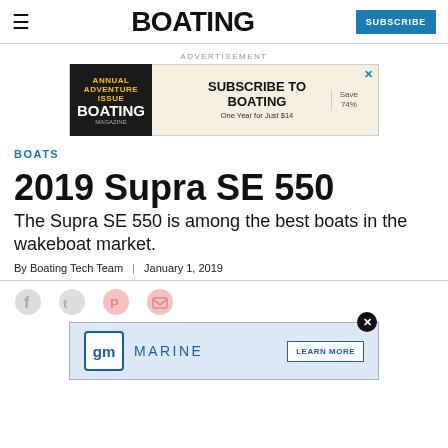BOATING | SUBSCRIBE
[Figure (infographic): Advertisement banner: Subscribe to Boating magazine, One Year for Just $14, Save 74%]
BOATS
2019 Supra SE 550
The Supra SE 550 is among the best boats in the wakeboat market.
By Boating Tech Team | January 1, 2019
[Figure (infographic): Bottom advertisement: GM Marine - Learn More button with GM logo in blue box]